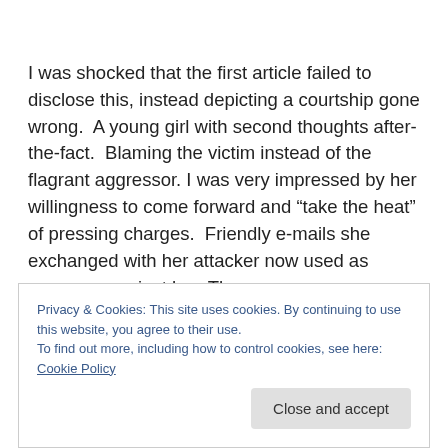I was shocked that the first article failed to disclose this, instead depicting a courtship gone wrong.  A young girl with second thoughts after-the-fact.  Blaming the victim instead of the flagrant aggressor. I was very impressed by her willingness to come forward and “take the heat” of pressing charges.  Friendly e-mails she exchanged with her attacker now used as weapons against her. The
Privacy & Cookies: This site uses cookies. By continuing to use this website, you agree to their use.
To find out more, including how to control cookies, see here: Cookie Policy
Close and accept